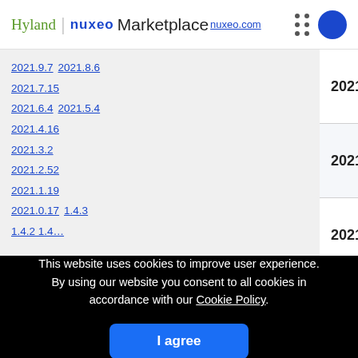Hyland | nuxeo Marketplace nuxeo.com
2021.9.7 2021.8.6 2021.7.15 2021.6.4 2021.5.4 2021.4.16 2021.3.2 2021.2.52 2021.1.19 2021.0.17 1.4.3
2021.18.6
2021.17.14
2021.16.7
This website uses cookies to improve user experience. By using our website you consent to all cookies in accordance with our Cookie Policy.
I agree